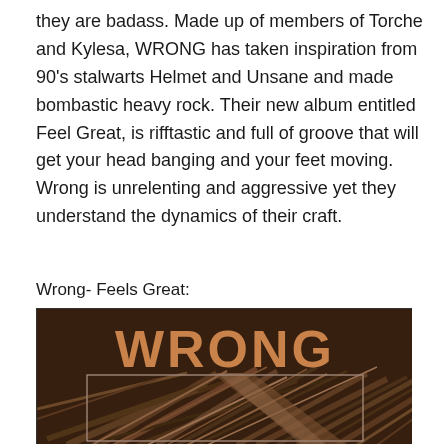they are badass. Made up of members of Torche and Kylesa, WRONG has taken inspiration from 90's stalwarts Helmet and Unsane and made bombastic heavy rock. Their new album entitled Feel Great, is rifftastic and full of groove that will get your head banging and your feet moving. Wrong is unrelenting and aggressive yet they understand the dynamics of their craft.
Wrong- Feels Great:
[Figure (photo): Album cover for 'Feel Great' by WRONG. Dark brown/tan duotone image showing debris and broken branches/sticks on the ground. The word 'WRONG' is displayed in large bold tan/orange letters at the top. There is an inner rectangular border framing the debris imagery.]